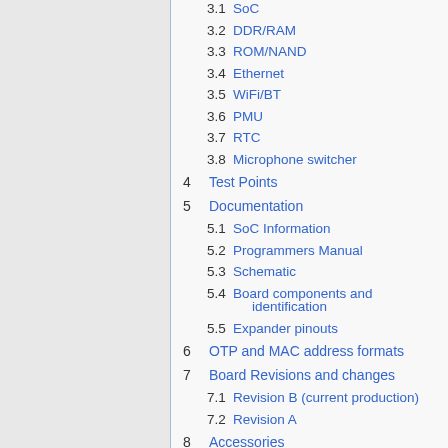3.1 SoC
3.2 DDR/RAM
3.3 ROM/NAND
3.4 Ethernet
3.5 WiFi/BT
3.6 PMU
3.7 RTC
3.8 Microphone switcher
4 Test Points
5 Documentation
5.1 SoC Information
5.2 Programmers Manual
5.3 Schematic
5.4 Board components and identification
5.5 Expander pinouts
6 OTP and MAC address formats
7 Board Revisions and changes
7.1 Revision B (current production)
7.2 Revision A
8 Accessories